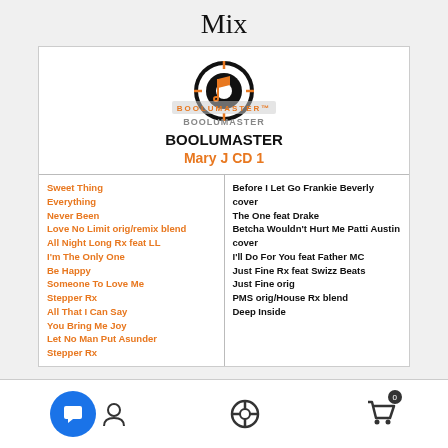Mix
[Figure (logo): BOOLUMASTER logo with circular graphic and text]
BOOLUMASTER
Mary J CD 1
| Left Tracks | Right Tracks |
| --- | --- |
| Sweet Thing
Everything
Never Been
Love No Limit orig/remix blend
All Night Long Rx feat LL
I'm The Only One
Be Happy
Someone To Love Me
Stepper Rx
All That I Can Say
You Bring Me Joy
Let No Man Put Asunder
Stepper Rx | Before I Let Go Frankie Beverly cover
The One feat Drake
Betcha Wouldn't Hurt Me Patti Austin cover
I'll Do For You feat Father MC
Just Fine Rx feat Swizz Beats
Just Fine orig
PMS orig/House Rx blend
Deep Inside |
[Figure (screenshot): Mobile app bottom navigation bar with chat, user, search, and cart icons]